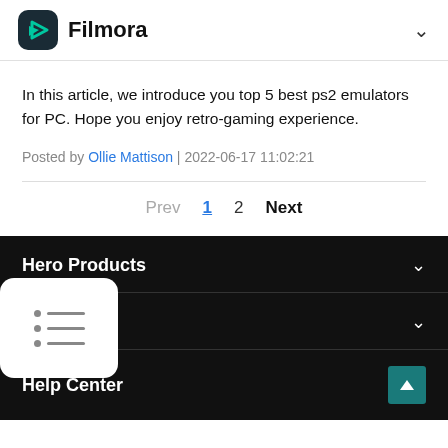Filmora
In this article, we introduce you top 5 best ps2 emulators for PC. Hope you enjoy retro-gaming experience.
Posted by Ollie Mattison | 2022-06-17 11:02:21
Prev  1  2  Next
Hero Products
ershare
Help Center